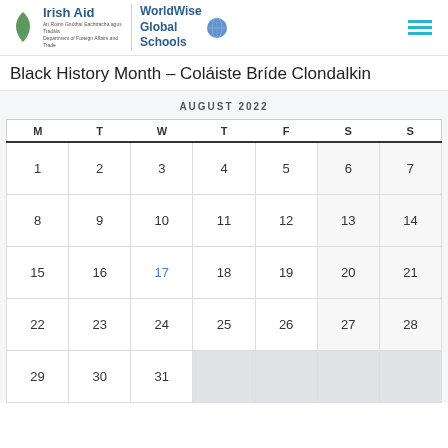Irish Aid | WorldWise Global Schools
Black History Month – Coláiste Bríde Clondalkin
| M | T | W | T | F | S | S |
| --- | --- | --- | --- | --- | --- | --- |
| 1 | 2 | 3 | 4 | 5 | 6 | 7 |
| 8 | 9 | 10 | 11 | 12 | 13 | 14 |
| 15 | 16 | 17 | 18 | 19 | 20 | 21 |
| 22 | 23 | 24 | 25 | 26 | 27 | 28 |
| 29 | 30 | 31 |  |  |  |  |